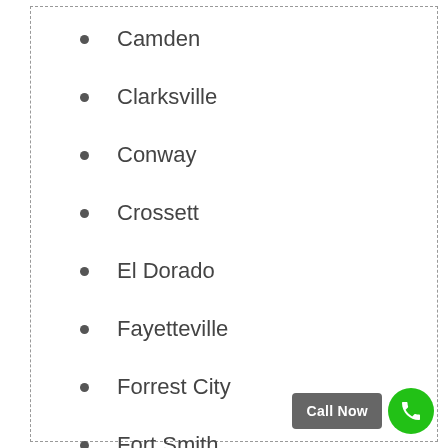Camden
Clarksville
Conway
Crossett
El Dorado
Fayetteville
Forrest City
Fort Smith
Greenbrier
Greenwood